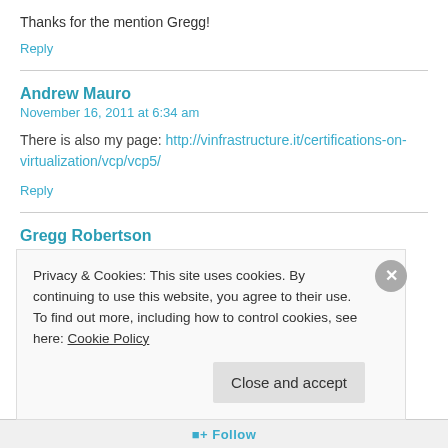Thanks for the mention Gregg!
Reply
Andrew Mauro
November 16, 2011 at 6:34 am
There is also my page: http://vinfrastructure.it/certifications-on-virtualization/vcp/vcp5/
Reply
Gregg Robertson
Privacy & Cookies: This site uses cookies. By continuing to use this website, you agree to their use.
To find out more, including how to control cookies, see here: Cookie Policy
Close and accept